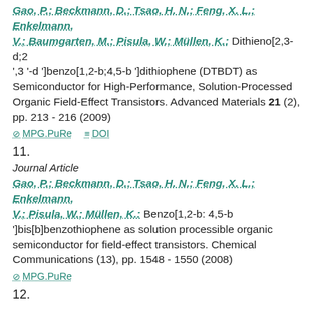Gao, P.; Beckmann, D.; Tsao, H. N.; Feng, X. L.; Enkelmann, V.; Baumgarten, M.; Pisula, W.; Müllen, K.: Dithieno[2,3-d;2',3'-d']benzo[1,2-b;4,5-b']dithiophene (DTBDT) as Semiconductor for High-Performance, Solution-Processed Organic Field-Effect Transistors. Advanced Materials 21 (2), pp. 213 - 216 (2009)
MPG.PuRe   DOI
11.
Journal Article
Gao, P.; Beckmann, D.; Tsao, H. N.; Feng, X. L.; Enkelmann, V.; Pisula, W.; Müllen, K.: Benzo[1,2-b: 4,5-b']bis[b]benzothiophene as solution processible organic semiconductor for field-effect transistors. Chemical Communications (13), pp. 1548 - 1550 (2008)
MPG.PuRe
12.